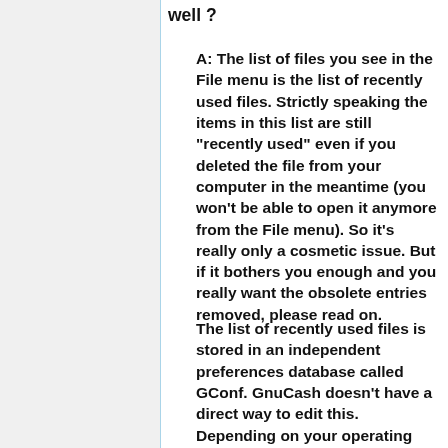well ?
A: The list of files you see in the File menu is the list of recently used files. Strictly speaking the items in this list are still "recently used" even if you deleted the file from your computer in the meantime (you won't be able to open it anymore from the File menu). So it's really only a cosmetic issue. But if it bothers you enough and you really want the obsolete entries removed, please read on.
The list of recently used files is stored in an independent preferences database called GConf. GnuCash doesn't have a direct way to edit this. Depending on your operating systems there